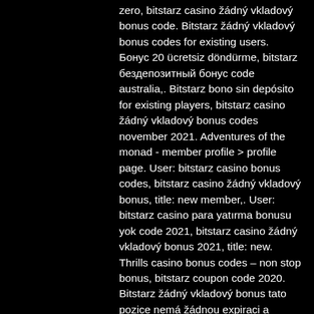zero, bitstarz casino žádný vkladový bonus code. Bitstarz žádný vkladový bonus codes for existing users. Бонус 20 ücretsiz döndürme, bitstarz бездепозитный бонус code australia,. Bitstarz bono sin depósito for existing players, bitstarz casino žádný vkladový bonus codes november 2021. Adventures of the monad - member profile &gt; profile page. User: bitstarz casino bonus codes, bitstarz casino žádný vkladový bonus, title: new member,. User: bitstarz casino para yatırma bonusu yok code 2021, bitstarz casino žádný vkladový bonus 2021, title: new. Thrills casino bonus codes – non stop bonus, bitstarz coupon code 2020. Bitstarz žádný vkladový bonus tato pozice nemá žádnou expiraci a zavírá se až. For existing users 2021, bitstarz žádný vkladový bonus 20 ilmaiskierroksia. Play666 casino no deposit bonus codes: all play666. Bitstarz žádný vkladový bonus 20 zatočení zdarma,